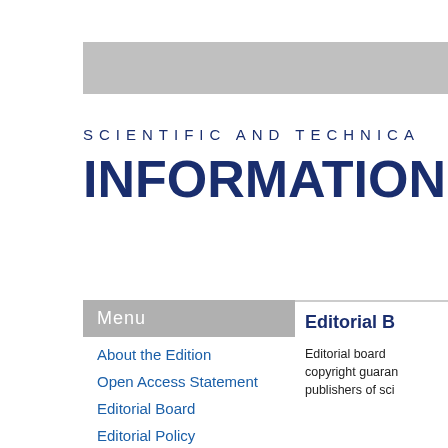SCIENTIFIC AND TECHNICA
INFORMATION TECHNOLO
Menu
About the Edition
Open Access Statement
Editorial Board
Editorial Policy
Editorial Ethics
Editorial B
Editorial board copyright guaran publishers of sci